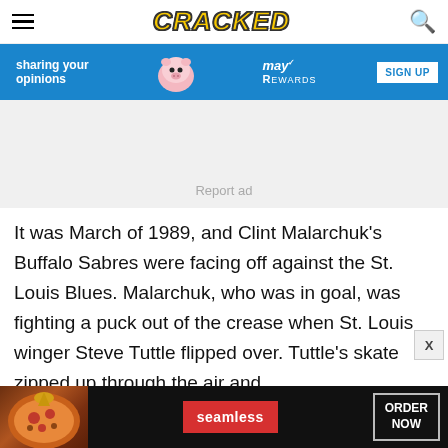CRACKED
[Figure (screenshot): Partial advertisement banner with blue background showing 'sharing your opinions' text, a cartoon pig, 'May Rewards' text, and a 'SIGN UP' button]
[Figure (screenshot): Gray advertisement placeholder area with 'Report ad' text in center]
It was March of 1989, and Clint Malarchuk's Buffalo Sabres were facing off against the St. Louis Blues. Malarchuk, who was in goal, was fighting a puck out of the crease when St. Louis winger Steve Tuttle flipped over. Tuttle's skate zipped up through the air and
[Figure (screenshot): Bottom advertisement banner with dark background showing pizza image, 'seamless' button in red, and 'ORDER NOW' button with border]